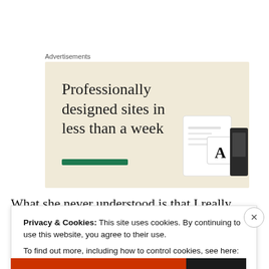Advertisements
[Figure (screenshot): Advertisement banner with beige background. Large serif text reads 'Professionally designed sites in less than a week'. Green button bar visible at bottom left. Device mockups visible at right side.]
What she never understood is that I really frequently
visited my father so, and made such an effort because I
Privacy & Cookies: This site uses cookies. By continuing to use this website, you agree to their use.
To find out more, including how to control cookies, see here: Cookie Policy
Close and accept